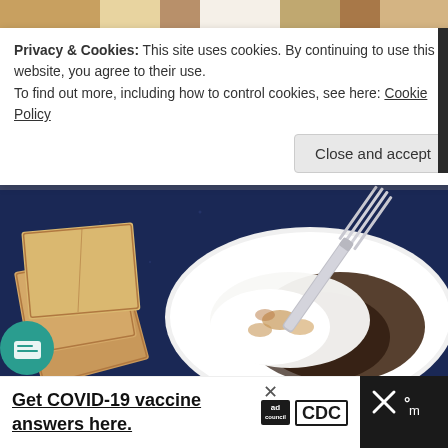[Figure (photo): Top strip of food photo showing baked goods with powdered sugar on a surface]
Privacy & Cookies: This site uses cookies. By continuing to use this website, you agree to their use.
To find out more, including how to control cookies, see here: Cookie Policy
Close and accept
[Figure (photo): Food photo on dark navy blue plate showing graham crackers on the left and a white plate with s'mores dessert (marshmallow, chocolate, graham cracker crumbs) with a fork on the right]
Get COVID-19 vaccine answers here.